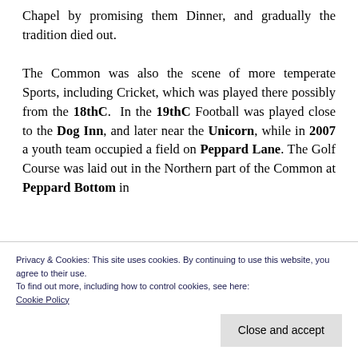Chapel by promising them Dinner, and gradually the tradition died out.

The Common was also the scene of more temperate Sports, including Cricket, which was played there possibly from the 18thC. In the 19thC Football was played close to the Dog Inn, and later near the Unicorn, while in 2007 a youth team occupied a field on Peppard Lane. The Golf Course was laid out in the Northern part of the Common at Peppard Bottom in
Privacy & Cookies: This site uses cookies. By continuing to use this website, you agree to their use.
To find out more, including how to control cookies, see here:
Cookie Policy
Close and accept
...ountry, and a Sports Centre was opened in